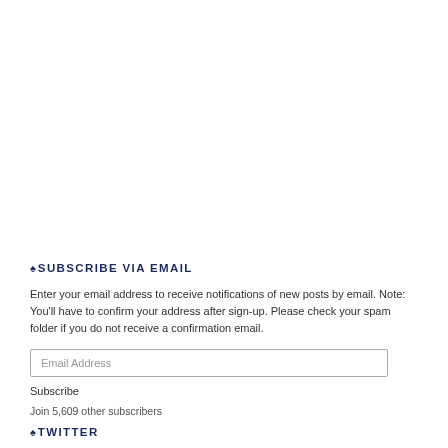♠ SUBSCRIBE VIA EMAIL
Enter your email address to receive notifications of new posts by email. Note: You'll have to confirm your address after sign-up. Please check your spam folder if you do not receive a confirmation email.
Email Address
Subscribe
Join 5,609 other subscribers
♠ TWITTER